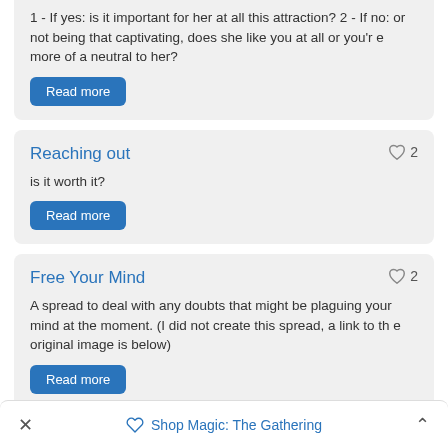1 - If yes: is it important for her at all this attraction? 2 - If no: or not being that captivating, does she like you at all or you're more of a neutral to her?
Read more
Reaching out
is it worth it?
Read more
Free Your Mind
A spread to deal with any doubts that might be plaguing your mind at the moment. (I did not create this spread, a link to the original image is below)
Read more
Shop Magic: The Gathering